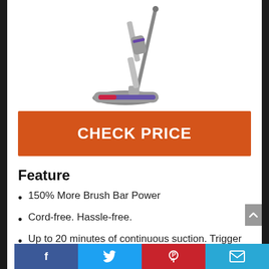[Figure (photo): Dyson cordless vacuum cleaner stick vacuum with brush bar head attachment, shown at an angle against white background]
CHECK PRICE
Feature
150% More Brush Bar Power
Cord-free. Hassle-free.
Up to 20 minutes of continuous suction. Trigger releases instantly. Battery power is only used for cleaning.